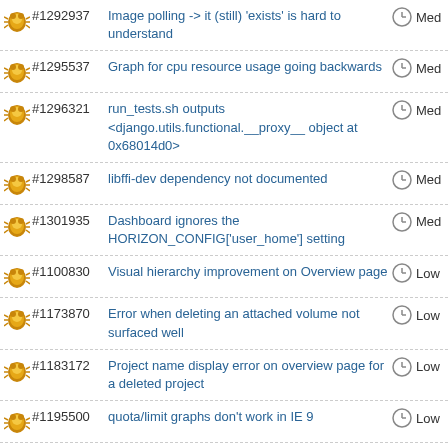#1292937 Image polling -> it (still) 'exists' is hard to understand Med
#1295537 Graph for cpu resource usage going backwards Med
#1296321 run_tests.sh outputs <django.utils.functional.__proxy__ object at 0x68014d0> Med
#1298587 libffi-dev dependency not documented Med
#1301935 Dashboard ignores the HORIZON_CONFIG['user_home'] setting Med
#1100830 Visual hierarchy improvement on Overview page Low
#1173870 Error when deleting an attached volume not surfaced well Low
#1183172 Project name display error on overview page for a deleted project Low
#1195500 quota/limit graphs don't work in IE 9 Low
#1196541 Docs update: simple_ip_management doesn't work with Quantum Low
#1207770 ...